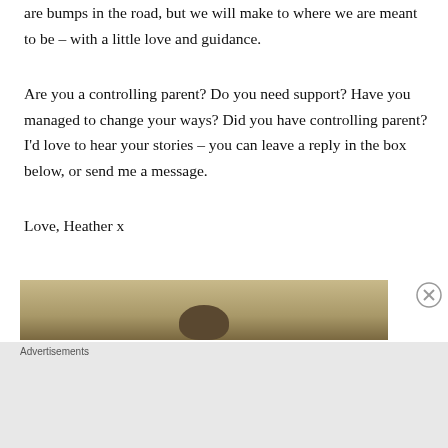are bumps in the road, but we will make to where we are meant to be – with a little love and guidance.
Are you a controlling parent? Do you need support? Have you managed to change your ways? Did you have controlling parent? I'd love to hear your stories – you can leave a reply in the box below, or send me a message.
Love, Heather x
[Figure (photo): Partial photo of a person's head against a natural/outdoor background]
Advertisements
[Figure (other): DuckDuckGo advertisement banner: Search, browse, and email with more privacy. All in One Free App. Shows DuckDuckGo logo on a phone.]